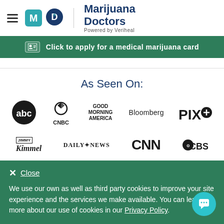[Figure (logo): Marijuana Doctors logo with MD icon and 'Powered by Veriheal' tagline, with hamburger menu icon]
[Figure (infographic): Green banner: ID card icon with text 'Click to apply for a medical marijuana card']
As Seen On:
[Figure (infographic): Media logos row 1: ABC, CNBC, Good Morning America, Bloomberg, PIX11]
[Figure (infographic): Media logos row 2 (partial): Jimmy Kimmel, Daily News, CNN, CBS]
× Close
We use our own as well as third party cookies to improve your site experience and the services we make available. You can learn more about our use of cookies in our Privacy Policy.